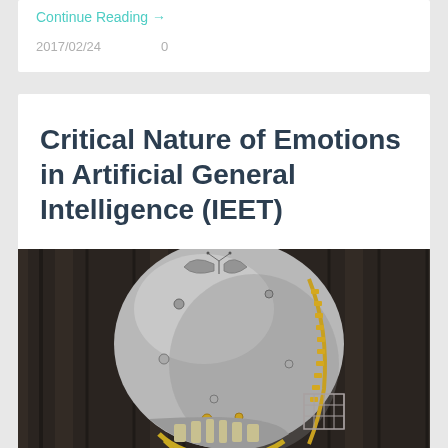Continue Reading →
2017/02/24    0
Critical Nature of Emotions in Artificial General Intelligence (IEET)
[Figure (photo): A metallic robot head/skull sculpture with silver chrome finish, visible mechanical components, rivets, a zipper-like seam, and a butterfly decoration on top, photographed against a dark wooden background.]